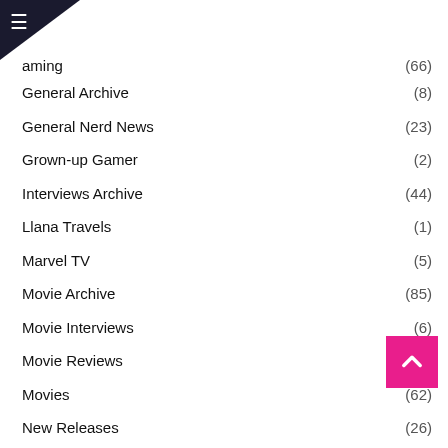≡
Gaming (66)
General Archive (8)
General Nerd News (23)
Grown-up Gamer (2)
Interviews Archive (44)
Llana Travels (1)
Marvel TV (5)
Movie Archive (85)
Movie Interviews (6)
Movie Reviews (19)
Movies (62)
New Releases (26)
One Hungry Nerd (1)
Other Geeky Stuff (1)
Reviews (5)